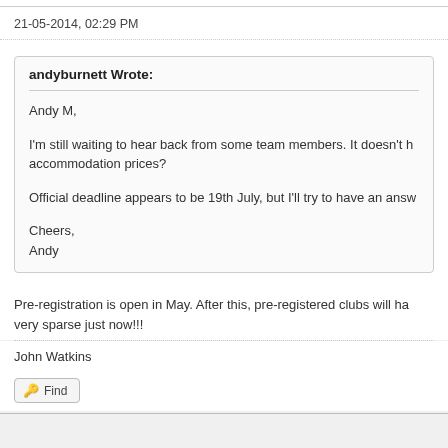21-05-2014, 02:29 PM
andyburnett Wrote:

Andy M,

I'm still waiting to hear back from some team members. It doesn't he accommodation prices?

Official deadline appears to be 19th July, but I'll try to have an answ

Cheers,
Andy
Pre-registration is open in May. After this, pre-registered clubs will ha very sparse just now!!!
John Watkins